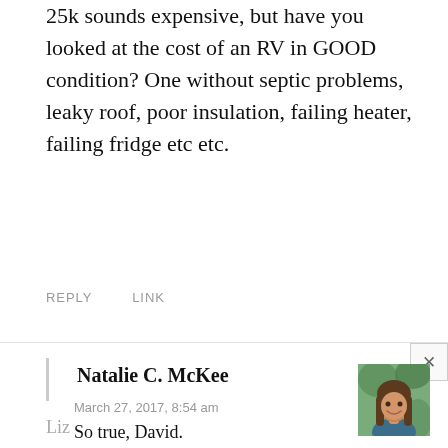25k sounds expensive, but have you looked at the cost of an RV in GOOD condition? One without septic problems, leaky roof, poor insulation, failing heater, failing fridge etc etc.
REPLY    LINK
Natalie C. McKee
March 27, 2017, 8:54 am
So true, David.
REPLY    LINK
Liz